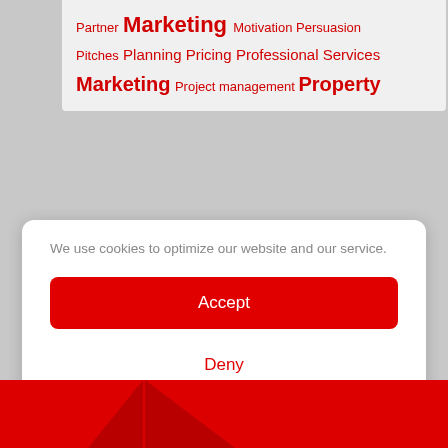[Figure (other): Tag cloud with red text showing topics: Partner, Marketing, Motivation, Persuasion, Pitches, Planning, Pricing, Professional Services, Marketing, Project management, Property]
We use cookies to optimize our website and our service.
Accept
Deny
Preferences
Legal Information   Privacy Statement
[Figure (illustration): Red background bar at bottom with geometric dark red arrow/chevron shapes]